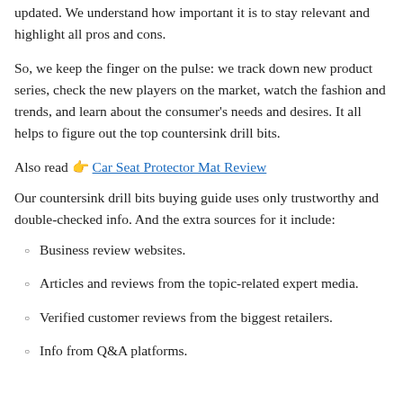updated. We understand how important it is to stay relevant and highlight all pros and cons.
So, we keep the finger on the pulse: we track down new product series, check the new players on the market, watch the fashion and trends, and learn about the consumer's needs and desires. It all helps to figure out the top countersink drill bits.
Also read 👉 Car Seat Protector Mat Review
Our countersink drill bits buying guide uses only trustworthy and double-checked info. And the extra sources for it include:
Business review websites.
Articles and reviews from the topic-related expert media.
Verified customer reviews from the biggest retailers.
Info from Q&A platforms.